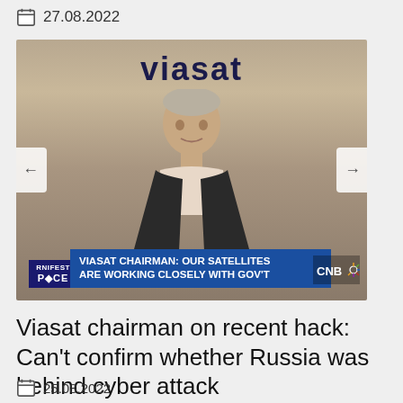27.08.2022
[Figure (screenshot): CNBC video screenshot of Viasat chairman being interviewed. The Viasat logo appears at the top of the background. A man in a dark suit sits in front of a Viasat-branded backdrop. Lower-third graphic reads: 'VIASAT CHAIRMAN: OUR SATELLITES ARE WORKING CLOSELY WITH GOV'T'. CNBC logo visible at bottom right. Navigation arrows on left and right sides.]
Viasat chairman on recent hack: Can't confirm whether Russia was behind cyber attack
25.08.2022